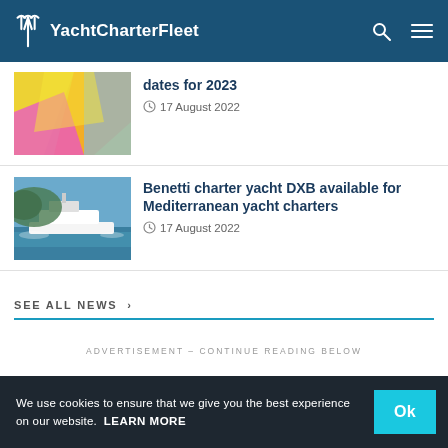YachtCharterFleet
dates for 2023
17 August 2022
Benetti charter yacht DXB available for Mediterranean yacht charters
17 August 2022
SEE ALL NEWS >
ADVERTISEMENT - CONTINUE READING BELOW
We use cookies to ensure that we give you the best experience on our website. LEARN MORE